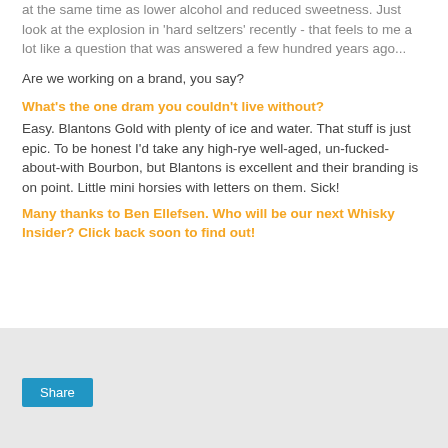at the same time as lower alcohol and reduced sweetness. Just look at the explosion in 'hard seltzers' recently - that feels to me a lot like a question that was answered a few hundred years ago...
Are we working on a brand, you say?
What’s the one dram you couldn’t live without?
Easy. Blantons Gold with plenty of ice and water. That stuff is just epic. To be honest I'd take any high-rye well-aged, un-fucked-about-with Bourbon, but Blantons is excellent and their branding is on point. Little mini horsies with letters on them. Sick!
Many thanks to Ben Ellefsen. Who will be our next Whisky Insider? Click back soon to find out!
[Figure (other): Gray share box area with a blue Share button]